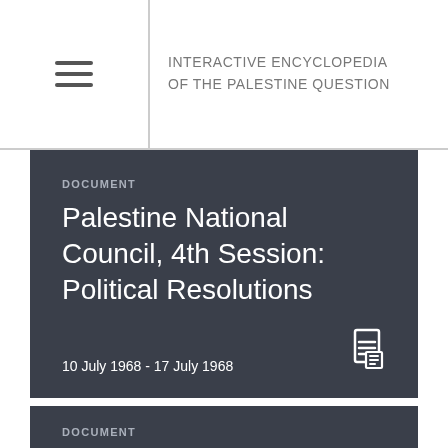INTERACTIVE ENCYCLOPEDIA OF THE PALESTINE QUESTION
DOCUMENT
Palestine National Council, 4th Session: Political Resolutions
10 July 1968 - 17 July 1968
DOCUMENT